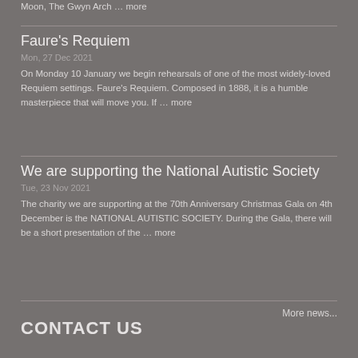Moon, The Gwyn Arch … more
Faure's Requiem
Mon, 27 Dec 2021
On Monday 10 January we begin rehearsals of one of the most widely-loved Requiem settings. Faure's Requiem. Composed in 1888, it is a humble masterpiece that will move you. If … more
We are supporting the National Autistic Society
Tue, 23 Nov 2021
The charity we are supporting at the 70th Anniversary Christmas Gala on 4th December is the NATIONAL AUTISTIC SOCIETY. During the Gala, there will be a short presentation of the … more
More news...
CONTACT US
REHEARSALS
Every Monday 7.30pm at Caversham Heights Methodist Church